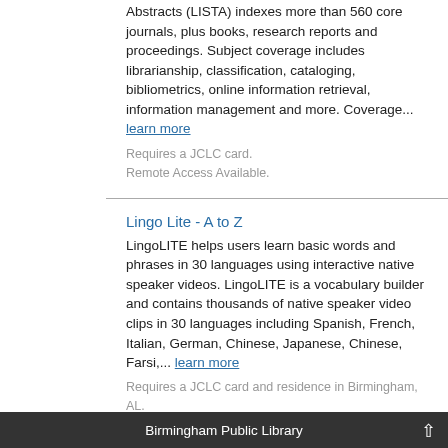Abstracts (LISTA) indexes more than 560 core journals, plus books, research reports and proceedings. Subject coverage includes librarianship, classification, cataloging, bibliometrics, online information retrieval, information management and more. Coverage... learn more
Requires a JCLC card.
Remote Access Available.
Lingo Lite - A to Z
LingoLITE helps users learn basic words and phrases in 30 languages using interactive native speaker videos. LingoLITE is a vocabulary builder and contains thousands of native speaker video clips in 30 languages including Spanish, French, Italian, German, Chinese, Japanese, Chinese, Farsi,... learn more
Requires a JCLC card and residence in Birmingham, AL.
Full Text Available.
Remote Access Available.
Literature Criticism Online
Gale takes literature, history and culture to
Birmingham Public Library